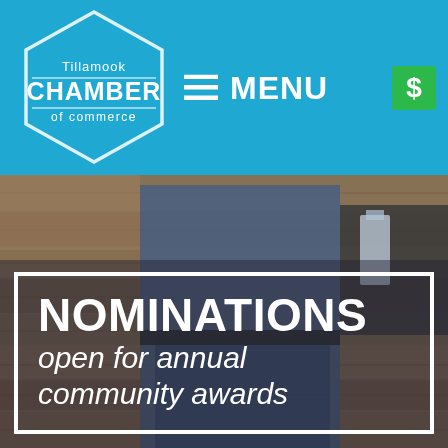[Figure (logo): Tillamook Chamber of Commerce logo — hexagon outline with text 'Tillamook CHAMBER of commerce' on blue background]
MENU
[Figure (other): Green dollar sign button icon]
[Figure (photo): Person in denim shirt and jeans holding a glass award trophy, standing in front of wooden plank wall]
NOMINATIONS open for annual community awards